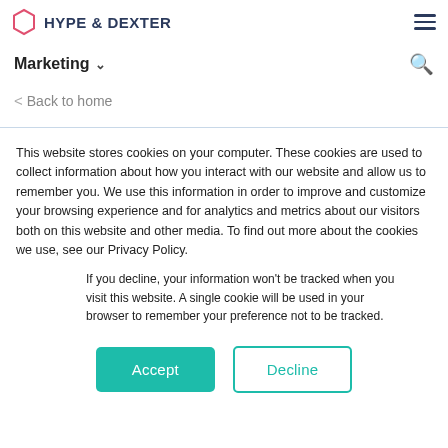[Figure (logo): Hype & Dexter logo with pink hexagon icon and bold dark blue text]
Marketing ˅
< Back to home
This website stores cookies on your computer. These cookies are used to collect information about how you interact with our website and allow us to remember you. We use this information in order to improve and customize your browsing experience and for analytics and metrics about our visitors both on this website and other media. To find out more about the cookies we use, see our Privacy Policy.
If you decline, your information won't be tracked when you visit this website. A single cookie will be used in your browser to remember your preference not to be tracked.
Accept
Decline